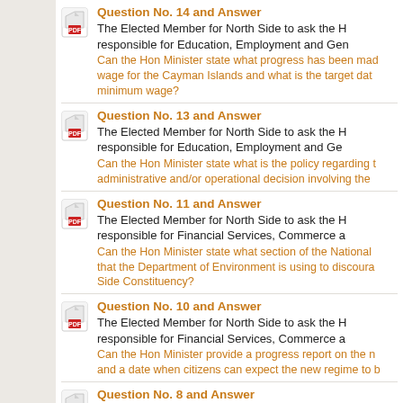Question No. 14 and Answer — The Elected Member for North Side to ask the Hon Minister responsible for Education, Employment and Ge... Can the Hon Minister state what progress has been made on a minimum wage for the Cayman Islands and what is the target date for the minimum wage?
Question No. 13 and Answer — The Elected Member for North Side to ask the Hon Minister responsible for Education, Employment and Ge... Can the Hon Minister state what is the policy regarding the administrative and/or operational decision involving the...
Question No. 11 and Answer — The Elected Member for North Side to ask the Hon Minister responsible for Financial Services, Commerce a... Can the Hon Minister state what section of the National... that the Department of Environment is using to discoura... Side Constituency?
Question No. 10 and Answer — The Elected Member for North Side to ask the Hon Minister responsible for Financial Services, Commerce a... Can the Hon Minister provide a progress report on the n... and a date when citizens can expect the new regime to b...
Question No. 8 and Answer — The Elected Member for North Side to ask the Hon Minister responsible for District Administration, Tourism a... Can the Hon Minister provide the salary scales for the P... CEO and the Cayman Islands Airports Authority CEO?
Question No. 7 and Answer